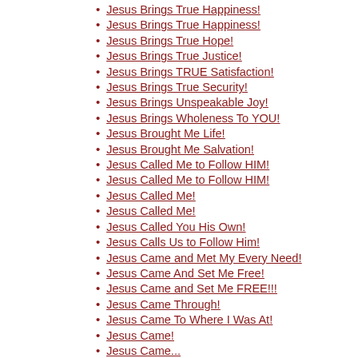Jesus Brings True Happiness!
Jesus Brings True Happiness!
Jesus Brings True Hope!
Jesus Brings True Justice!
Jesus Brings TRUE Satisfaction!
Jesus Brings True Security!
Jesus Brings Unspeakable Joy!
Jesus Brings Wholeness To YOU!
Jesus Brought Me Life!
Jesus Brought Me Salvation!
Jesus Called Me to Follow HIM!
Jesus Called Me to Follow HIM!
Jesus Called Me!
Jesus Called Me!
Jesus Called You His Own!
Jesus Calls Us to Follow Him!
Jesus Came and Met My Every Need!
Jesus Came And Set Me Free!
Jesus Came and Set Me FREE!!!
Jesus Came Through!
Jesus Came To Where I Was At!
Jesus Came!
Jesus Came...
Jesus Can Bless YOU!
Jesus Can Change You Too!
Jesus Can Change YOU!
Jesus Can Change You!
Jesus Can Change Your Life!
Jesus Can Do Anything!
Jesus Can Do for You What He's Done